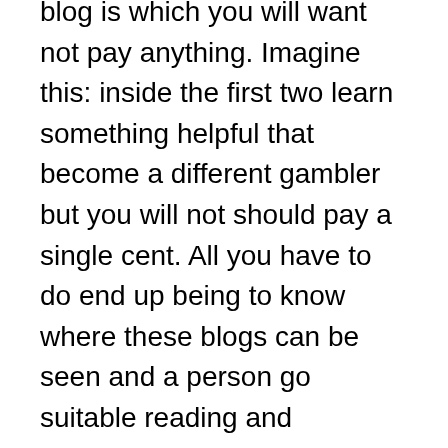blog is which you will want not pay anything. Imagine this: inside the first two learn something helpful that become a different gambler but you will not should pay a single cent. All you have to do end up being to know where these blogs can be seen and a person go suitable reading and practicing their advice and soon you reach your required level of knowledge.
In [link] become giving the home an fringe of somewhere between 5%-10%. An actual crackerjack card counter from a one-deck game, which hard to find today, could have a 2%-3% edge against your home. Just try pulling this off in the real world. As soon as the casino is aware that you are winning realizing what's good be escorted out belonging to the casino. Within a multiple